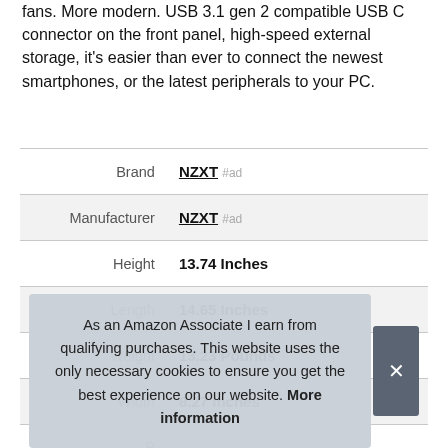fans. More modern. USB 3.1 gen 2 compatible USB C connector on the front panel, high-speed external storage, it's easier than ever to connect the newest smartphones, or the latest peripherals to your PC.
|  |  |
| --- | --- |
| Brand | NZXT #ad |
| Manufacturer | NZXT #ad |
| Height | 13.74 Inches |
| Length | 14.65 Inches |
| Weight | 13.23 Pounds |
| Width | 8.27 Inches |
| P |  |
|  |  |
As an Amazon Associate I earn from qualifying purchases. This website uses the only necessary cookies to ensure you get the best experience on our website. More information